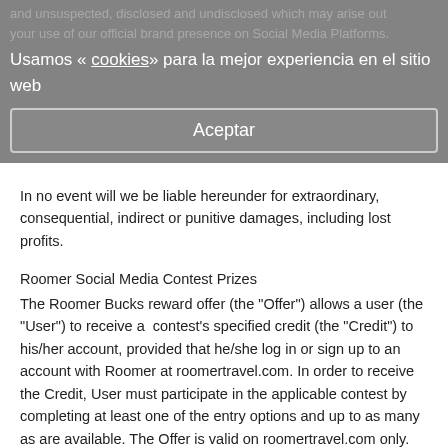and unsuspected, disclosed and undisclosed which may arise out your use of our official brand presence on Social Media Platforms.
Usamos « cookies» para la mejor experiencia en el sitio web
Aceptar
In no event will we be liable hereunder for extraordinary, consequential, indirect or punitive damages, including lost profits.
Roomer Social Media Contest Prizes
The Roomer Bucks reward offer (the "Offer") allows a user (the "User") to receive a  contest's specified credit (the "Credit") to his/her account, provided that he/she log in or sign up to an account with Roomer at roomertravel.com. In order to receive the Credit, User must participate in the applicable contest by completing at least one of the entry options and up to as many as are available. The Offer is valid on roomertravel.com only. The Offer is non-transferable; may not be used by anyone other than the User. The User may apply credits to any Roomer purchase of at least $100 in a single transaction excluding any credits. The Offer is valid per individual User: if a User creates different accounts for the purpose of using the Offer, He or She will be deemed an abuser and ALL of their accounts will be suspended.